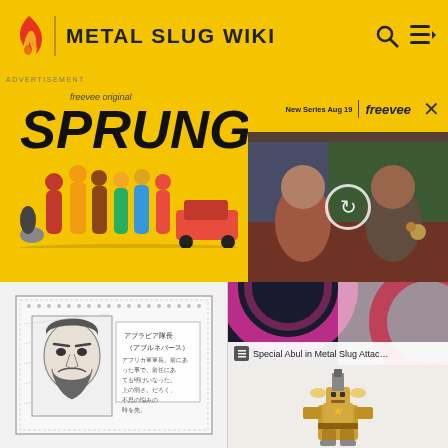METAL SLUG WIKI
[Figure (screenshot): Freevee Original advertisement for 'SPRUNG' TV series, showing cast members and a video thumbnail. Text: 'freevee original', 'SPRUNG', 'New Series Aug 19', 'freevee']
[Figure (illustration): Black and white sketch/artwork showing a bearded character with Japanese text annotation, appears to be character art from Metal Slug]
Special Abul in Metal Slug Attac…
[Figure (screenshot): Pixel art character sprite from Metal Slug Attack, showing a golden/brown armed character with mechanical/turret elements]